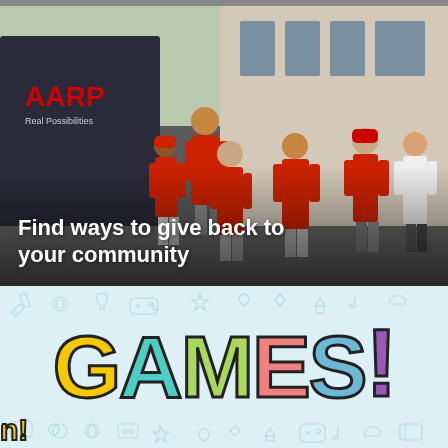[Figure (photo): Group of people wearing red AARP shirts walking outside an AARP office building. Text overlay reads 'Find ways to give back to your community'.]
[Figure (illustration): Colorful 'GAMES!' text logo on a light blue doodle-patterned background. Each letter is a different color: G=yellow, A=teal, M=green, E=red/salmon, S=blue, !=purple.]
n!